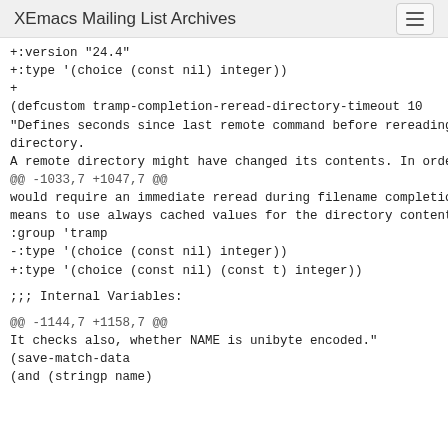XEmacs Mailing List Archives
+:version "24.4"
+:type '(choice (const nil) integer))
+
(defcustom tramp-completion-reread-directory-timeout 10
"Defines seconds since last remote command before rereading a directory.
A remote directory might have changed its contents. In order to
@@ -1033,7 +1047,7 @@
would require an immediate reread during filename completion, `nil'
means to use always cached values for the directory contents."
:group 'tramp
-:type '(choice (const nil) integer))
+:type '(choice (const nil) (const t) integer))
;;; Internal Variables:
@@ -1144,7 +1158,7 @@
It checks also, whether NAME is unibyte encoded."
(save-match-data
(and (stringp name)